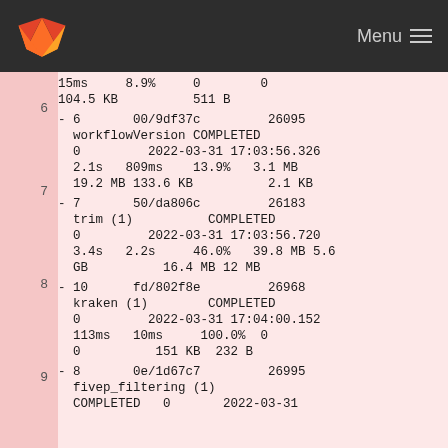Menu
15ms    8.9%    0       0
104.5 KB        511 B
6  - 6       00/9df37c      26095
     workflowVersion COMPLETED
     0          2022-03-31 17:03:56.326
     2.1s  809ms  13.9%  3.1 MB
     19.2 MB 133.6 KB       2.1 KB
7  - 7       50/da806c      26183
     trim (1)         COMPLETED
     0          2022-03-31 17:03:56.720
     3.4s  2.2s  46.0%  39.8 MB 5.6 GB       16.4 MB 12 MB
8  - 10      fd/802f8e      26968
     kraken (1)       COMPLETED
     0          2022-03-31 17:04:00.152
     113ms  10ms  100.0%  0
     0       151 KB  232 B
9  - 8       0e/1d67c7      26995
     fivep_filtering (1)
     COMPLETED   0       2022-03-31